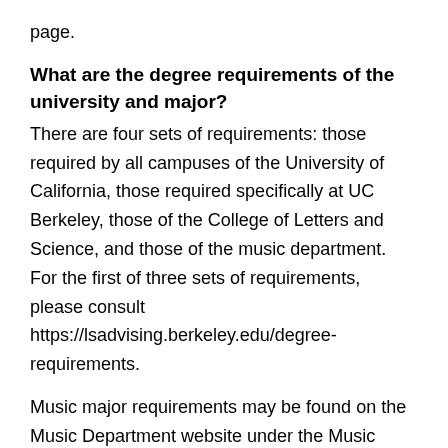page.
What are the degree requirements of the university and major?
There are four sets of requirements: those required by all campuses of the University of California, those required specifically at UC Berkeley, those of the College of Letters and Science, and those of the music department. For the first of three sets of requirements, please consult https://lsadvising.berkeley.edu/degree-requirements.
Music major requirements may be found on the Music Department website under the Music Major section of Undergraduate Information.
When can I declare the major?
Students can declare the major when they have